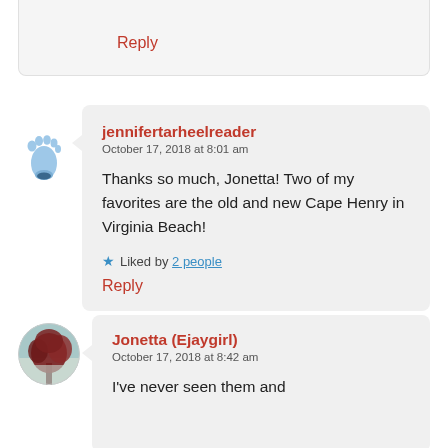Reply
jennifertarheelreader
October 17, 2018 at 8:01 am

Thanks so much, Jonetta! Two of my favorites are the old and new Cape Henry in Virginia Beach!

★ Liked by 2 people

Reply
Jonetta (Ejaygirl)
October 17, 2018 at 8:42 am

I've never seen them and